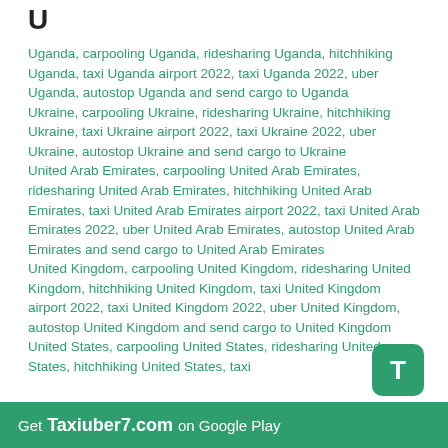U
Uganda, carpooling Uganda, ridesharing Uganda, hitchhiking Uganda, taxi Uganda airport 2022, taxi Uganda 2022, uber Uganda, autostop Uganda and send cargo to Uganda
Ukraine, carpooling Ukraine, ridesharing Ukraine, hitchhiking Ukraine, taxi Ukraine airport 2022, taxi Ukraine 2022, uber Ukraine, autostop Ukraine and send cargo to Ukraine
United Arab Emirates, carpooling United Arab Emirates, ridesharing United Arab Emirates, hitchhiking United Arab Emirates, taxi United Arab Emirates airport 2022, taxi United Arab Emirates 2022, uber United Arab Emirates, autostop United Arab Emirates and send cargo to United Arab Emirates
United Kingdom, carpooling United Kingdom, ridesharing United Kingdom, hitchhiking United Kingdom, taxi United Kingdom airport 2022, taxi United Kingdom 2022, uber United Kingdom, autostop United Kingdom and send cargo to United Kingdom
United States, carpooling United States, ridesharing United States, hitchhiking United States, taxi
Get Taxiuber7.com on Google Play